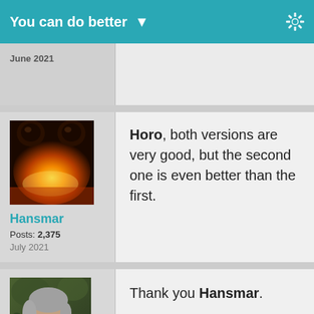You can do better ▼
June 2021
[Figure (photo): Avatar image of Hansmar: orange/yellow glowing light with two dark circular shapes at top, warm tones]
Hansmar
Posts: 2,375
July 2021
Horo, both versions are very good, but the second one is even better than the first.
[Figure (photo): Avatar image of a person: elderly man with grey hair and glasses, profile view, outdoor setting]
Thank you Hansmar.